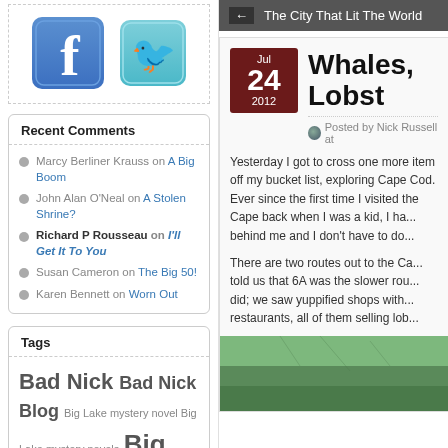[Figure (illustration): Facebook and Twitter social media icon buttons]
Recent Comments
Marcy Berliner Krauss on A Big Boom
John Alan O'Neal on A Stolen Shrine?
Richard P Rousseau on I'll Get It To You
Susan Cameron on The Big 50!
Karen Bennett on Worn Out
Tags
Bad Nick Bad Nick Blog Big Lake mystery novel Big Lake mystery novels Big
The City That Lit The World
Whales, Lobst
Jul 24 2012
Posted by Nick Russell at
Yesterday I got to cross one more item off my bucket list, exploring Cape Cod. Ever since the first time I visited the Cape back when I was a kid, I have wanted to leave work behind me and I don't have to do
There are two routes out to the Ca... told us that 6A was the slower rou... did; we saw yuppified shops with... restaurants, all of them selling lob...
[Figure (photo): Partial photo of greenery/landscape at bottom of page]